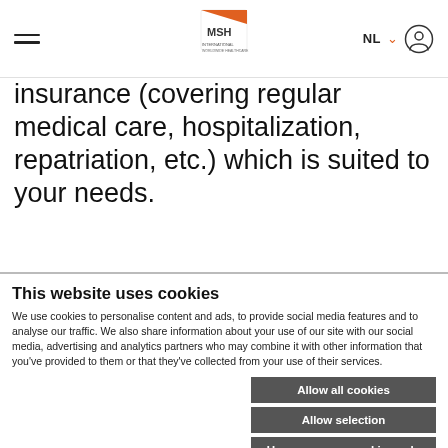MSH International — NL navigation bar
insurance (covering regular medical care, hospitalization, repatriation, etc.) which is suited to your needs.
This website uses cookies
We use cookies to personalise content and ads, to provide social media features and to analyse our traffic. We also share information about your use of our site with our social media, advertising and analytics partners who may combine it with other information that you've provided to them or that they've collected from your use of their services.
Allow all cookies
Allow selection
Use necessary cookies only
Necessary | Preferences | Statistics | Show details | Marketing